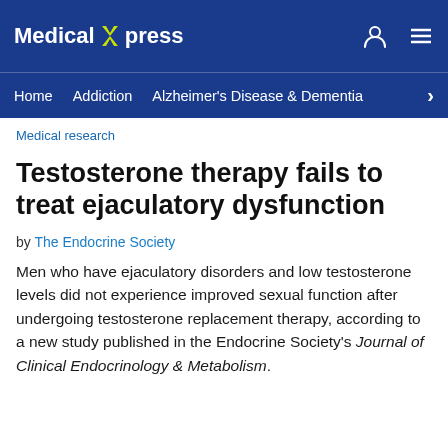Medical Xpress
Home  Addiction  Alzheimer's Disease & Dementia
Medical research
Testosterone therapy fails to treat ejaculatory dysfunction
by The Endocrine Society
Men who have ejaculatory disorders and low testosterone levels did not experience improved sexual function after undergoing testosterone replacement therapy, according to a new study published in the Endocrine Society's Journal of Clinical Endocrinology & Metabolism.